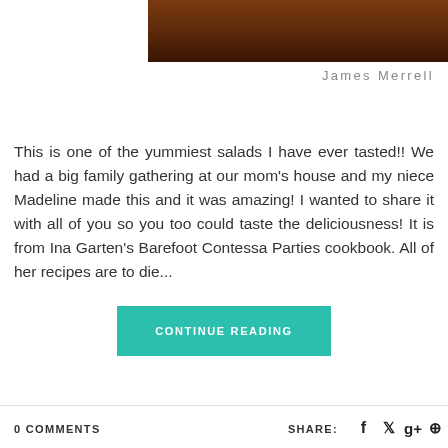[Figure (photo): Cropped food/salad photo at top of page, dark brownish-red tones visible]
James Merrell
This is one of the yummiest salads I have ever tasted!! We had a big family gathering at our mom's house and my niece Madeline made this and it was amazing! I wanted to share it with all of you so you too could taste the deliciousness! It is from Ina Garten's Barefoot Contessa Parties cookbook. All of her recipes are to die...
CONTINUE READING
0 COMMENTS   SHARE: